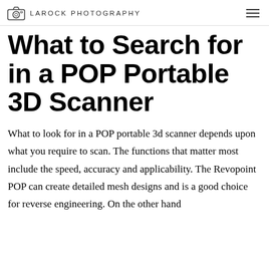LAROCK PHOTOGRAPHY
What to Search for in a POP Portable 3D Scanner
What to look for in a POP portable 3d scanner depends upon what you require to scan. The functions that matter most include the speed, accuracy and applicability. The Revopoint POP can create detailed mesh designs and is a good choice for reverse engineering. On the other hand